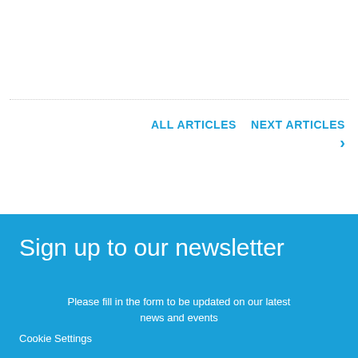ALL ARTICLES   NEXT ARTICLES >
Sign up to our newsletter
Please fill in the form to be updated on our latest news and events
Cookie Settings